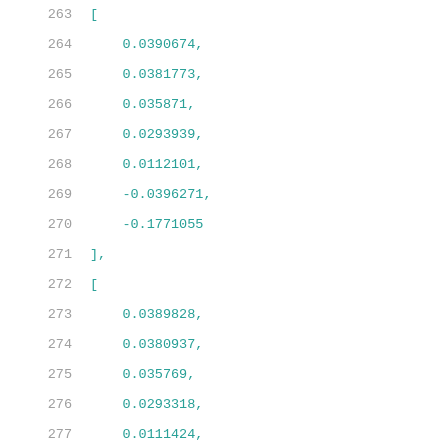263  [
264      0.0390674,
265      0.0381773,
266      0.035871,
267      0.0293939,
268      0.0112101,
269      -0.0396271,
270      -0.1771055
271  ],
272  [
273      0.0389828,
274      0.0380937,
275      0.035769,
276      0.0293318,
277      0.0111424,
278      -0.0396953,
279      -0.1772713
280  ],
281  [
282      0.0388171,
283      0.0379385,
284      0.035601...